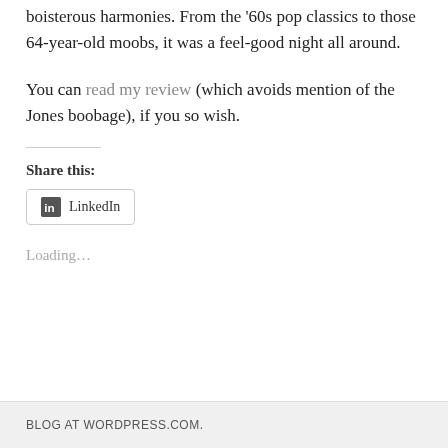boisterous harmonies. From the '60s pop classics to those 64-year-old moobs, it was a feel-good night all around.
You can read my review (which avoids mention of the Jones boobage), if you so wish.
Share this:
LinkedIn
Loading...
BLOG AT WORDPRESS.COM.